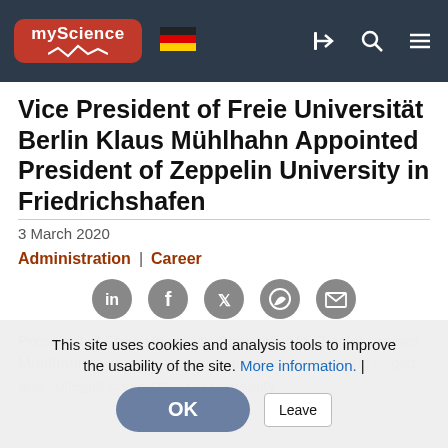myScience | [German flag] | [login] [search] [menu]
Vice President of Freie Universität Berlin Klaus Mühlhahn Appointed President of Zeppelin University in Friedrichshafen
3 March 2020
Administration | Career
[Figure (infographic): Social share icons row: LinkedIn, Facebook, Twitter, WhatsApp, Email]
President of Freie University Chancellor M. Ziegler praised Mühlhahn to important contributions as outstanding ... gist and collegial cooperation in university
This site uses cookies and analysis tools to improve the usability of the site. More information. | OK | Leave